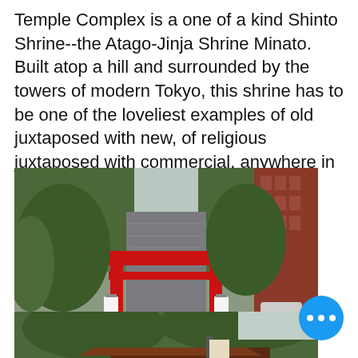Temple Complex is a one of a kind Shinto Shrine--the Atago-Jinja Shrine Minato. Built atop a hill and surrounded by the towers of modern Tokyo, this shrine has to be one of the loveliest examples of old juxtaposed with new, of religious juxtaposed with commercial, anywhere in the world.
[Figure (photo): A red torii gate at the entrance of the Atago-Jinja Shrine in Tokyo, flanked by large trees, with stone steps leading upward behind it, and a modern red-brick building visible on the right. Traditional stone lanterns and a sign board are visible near the gate.]
[Figure (photo): Partial view of another photo showing trees and what appears to be the base of a shrine building or gate structure.]